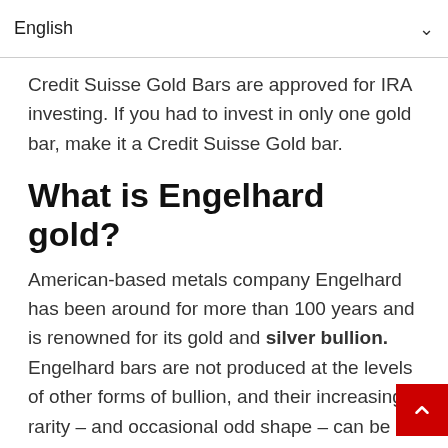English
Credit Suisse Gold Bars are approved for IRA investing. If you had to invest in only one gold bar, make it a Credit Suisse Gold bar.
What is Engelhard gold?
American-based metals company Engelhard has been around for more than 100 years and is renowned for its gold and silver bullion. Engelhard bars are not produced at the levels of other forms of bullion, and their increasing rarity – and occasional odd shape – can be attractive to some investors (although this does tend to increase premiums). Most Engelhard bars are marked with a unique serial number and come in